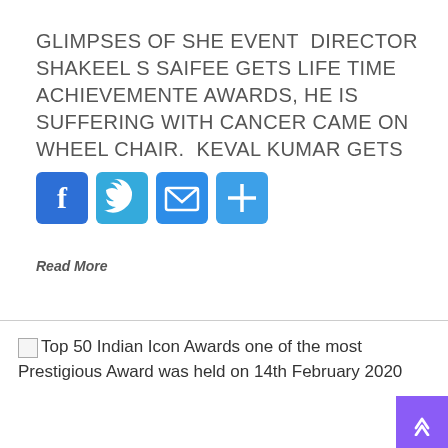GLIMPSES OF SHE EVENT  DIRECTOR SHAKEEL S SAIFEE GETS LIFE TIME ACHIEVEMENTE AWARDS, HE IS SUFFERING WITH CANCER CAME ON WHEEL CHAIR.  KEVAL KUMAR GETS
[Figure (infographic): Social share buttons: Facebook, Twitter, Email, Share (plus icon)]
Read More
Top 50 Indian Icon Awards one of the most Prestigious Award was held on 14th February 2020